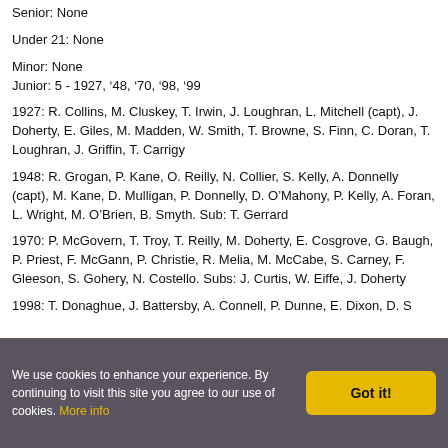Senior: None
Under 21: None
Minor: None
Junior: 5 - 1927, ’48, ’70, ’98, ’99
1927: R. Collins, M. Cluskey, T. Irwin, J. Loughran, L. Mitchell (capt), J. Doherty, E. Giles, M. Madden, W. Smith, T. Browne, S. Finn, C. Doran, T. Loughran, J. Griffin, T. Carrigy
1948: R. Grogan, P. Kane, O. Reilly, N. Collier, S. Kelly, A. Donnelly (capt), M. Kane, D. Mulligan, P. Donnelly, D. O’Mahony, P. Kelly, A. Foran, L. Wright, M. O’Brien, B. Smyth. Sub: T. Gerrard
1970: P. McGovern, T. Troy, T. Reilly, M. Doherty, E. Cosgrove, G. Baugh, P. Priest, F. McGann, P. Christie, R. Melia, M. McCabe, S. Carney, F. Gleeson, S. Gohery, N. Costello. Subs: J. Curtis, W. Eiffe, J. Doherty
1998: T. Donaghue, J. Battersby, A. Connell, P. Dunne, E. Dixon, D. Sorrell (capt), H. Manning, F. O’Shie, and others...